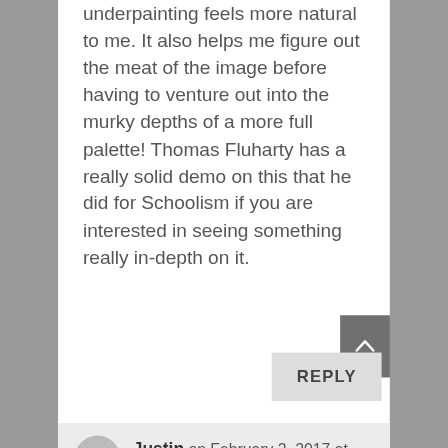underpainting feels more natural to me. It also helps me figure out the meat of the image before having to venture out into the murky depths of a more full palette! Thomas Fluharty has a really solid demo on this that he did for Schoolism if you are interested in seeing something really in-depth on it.
REPLY
Justin on February 2, 2017 at 5:20